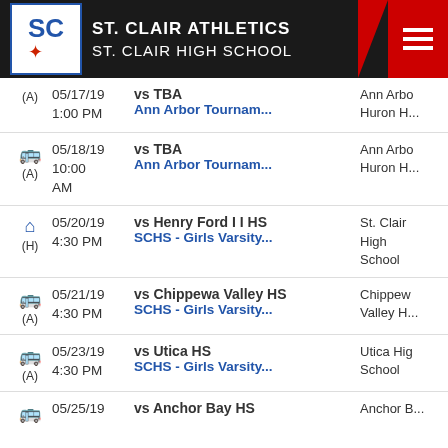ST. CLAIR ATHLETICS ST. CLAIR HIGH SCHOOL
| Icon/Type | Date/Time | Event | Location |
| --- | --- | --- | --- |
| (A) | 05/17/19 1:00 PM | vs TBA / Ann Arbor Tournam... | Ann Arbo... Huron H... |
| (A) | 05/18/19 10:00 AM | vs TBA / Ann Arbor Tournam... | Ann Arbo... Huron H... |
| (H) | 05/20/19 4:30 PM | vs Henry Ford I I HS / SCHS - Girls Varsity... | St. Clair High School |
| (A) | 05/21/19 4:30 PM | vs Chippewa Valley HS / SCHS - Girls Varsity... | Chippew... Valley H... |
| (A) | 05/23/19 4:30 PM | vs Utica HS / SCHS - Girls Varsity... | Utica Hig... School |
| (A) | 05/25/19 | vs Anchor Bay HS | Anchor B... |